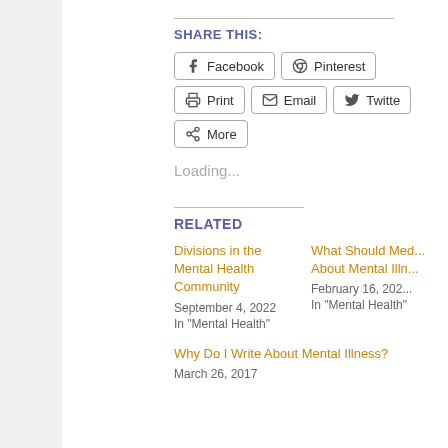SHARE THIS:
Facebook  Pinterest  Print  Email  Twitter  More
Loading...
RELATED
Divisions in the Mental Health Community
September 4, 2022
In "Mental Health"
What Should Med... About Mental Illn...
February 16, 202...
In "Mental Health"
Why Do I Write About Mental Illness?
March 26, 2017